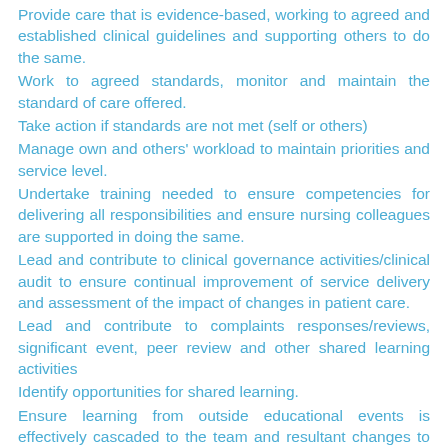Provide care that is evidence-based, working to agreed and established clinical guidelines and supporting others to do the same.
Work to agreed standards, monitor and maintain the standard of care offered.
Take action if standards are not met (self or others)
Manage own and others' workload to maintain priorities and service level.
Undertake training needed to ensure competencies for delivering all responsibilities and ensure nursing colleagues are supported in doing the same.
Lead and contribute to clinical governance activities/clinical audit to ensure continual improvement of service delivery and assessment of the impact of changes in patient care.
Lead and contribute to complaints responses/reviews, significant event, peer review and other shared learning activities
Identify opportunities for shared learning.
Ensure learning from outside educational events is effectively cascaded to the team and resultant changes to practice implemented.